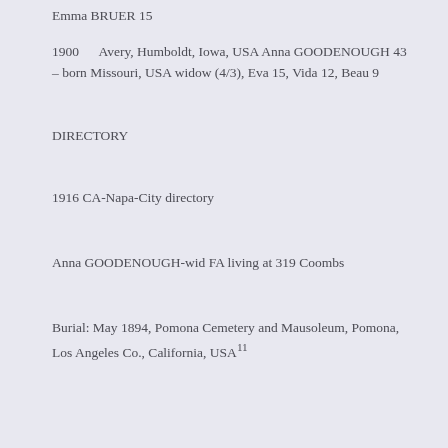Emma BRUER 15
1900      Avery, Humboldt, Iowa, USA Anna GOODENOUGH 43 – born Missouri, USA widow (4/3), Eva 15, Vida 12, Beau 9
DIRECTORY
1916 CA-Napa-City directory
Anna GOODENOUGH-wid FA living at 319 Coombs
Burial: May 1894, Pomona Cemetery and Mausoleum, Pomona, Los Angeles Co., California, USA11